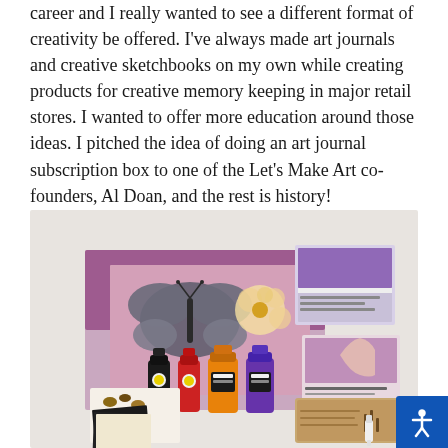career and I really wanted to see a different format of creativity be offered. I've always made art journals and creative sketchbooks on my own while creating products for creative memory keeping in major retail stores. I wanted to offer more education around those ideas. I pitched the idea of doing an art journal subscription box to one of the Let's Make Art co-founders, Al Doan, and the rest is history!
[Figure (photo): Flat lay photo of art journaling subscription box contents including paint bottles (black, red, yellow, purple), decorative papers with butterfly and floral designs, small sticker sheets with butterflies, photo cards, instructional booklets, a kraft notebook, and a white marker/pen on a white textured surface.]